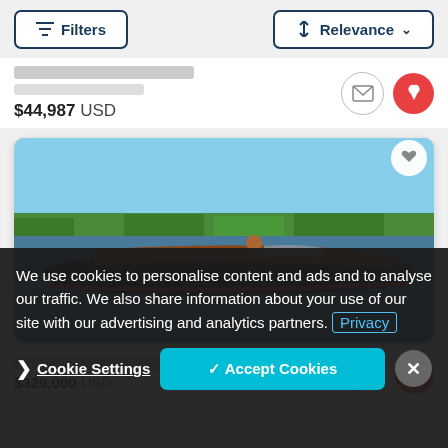Filters | Relevance
$44,987 USD
[Figure (photo): Classic wooden speedboat with dark navy hull and mahogany deck cruising on a lake with green shoreline in background]
We use cookies to personalise content and ads and to analyse our traffic. We also share information about your use of our site with our advertising and analytics partners. Privacy
$329,000 USD
Cookie Settings  ✓ Accept Cookies